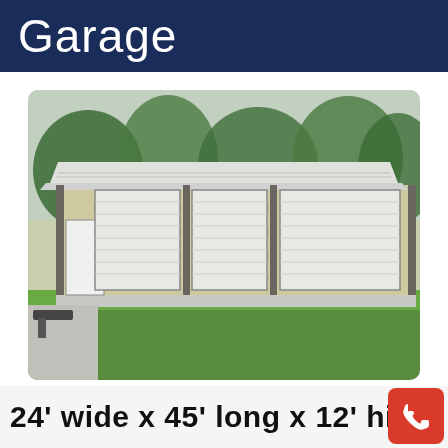Garage
[Figure (photo): A metal triple-door garage building with beige/tan walls, white roll-up doors, a white walk-in door, metal roof, and a concrete apron, set on a grassy lot with trees in the background.]
24’ wide x 45’ long x 12’ hi